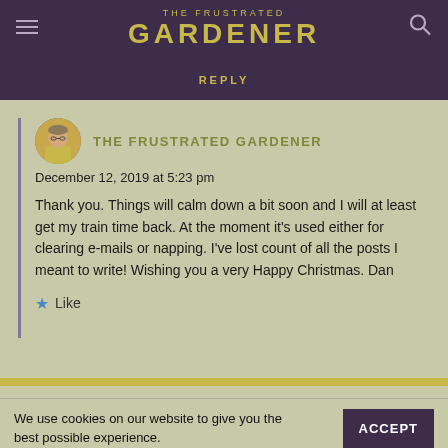THE FRUSTRATED GARDENER
REPLY
THE FRUSTRATED GARDENER
December 12, 2019 at 5:23 pm
Thank you. Things will calm down a bit soon and I will at least get my train time back. At the moment it's used either for clearing e-mails or napping. I've lost count of all the posts I meant to write! Wishing you a very Happy Christmas. Dan
Like
We use cookies on our website to give you the best possible experience.